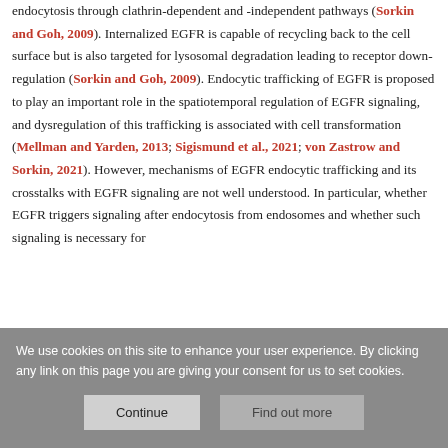endocytosis through clathrin-dependent and -independent pathways (Sorkin and Goh, 2009). Internalized EGFR is capable of recycling back to the cell surface but is also targeted for lysosomal degradation leading to receptor down-regulation (Sorkin and Goh, 2009). Endocytic trafficking of EGFR is proposed to play an important role in the spatiotemporal regulation of EGFR signaling, and dysregulation of this trafficking is associated with cell transformation (Mellman and Yarden, 2013; Sigismund et al., 2021; von Zastrow and Sorkin, 2021). However, mechanisms of EGFR endocytic trafficking and its crosstalks with EGFR signaling are not well understood. In particular, whether EGFR triggers signaling after endocytosis from endosomes and whether such signaling is necessary for
We use cookies on this site to enhance your user experience. By clicking any link on this page you are giving your consent for us to set cookies.